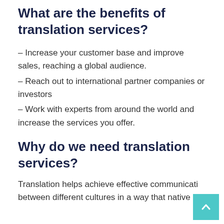What are the benefits of translation services?
– Increase your customer base and improve sales, reaching a global audience.
– Reach out to international partner companies or investors
– Work with experts from around the world and increase the services you offer.
Why do we need translation services?
Translation helps achieve effective communicati between different cultures in a way that native